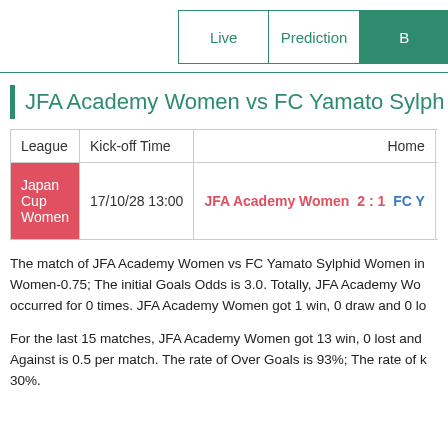Live | Prediction | B
JFA Academy Women vs FC Yamato Sylph
| League | Kick-off Time | Home | VS | Awa |
| --- | --- | --- | --- | --- |
| Japan Cup Women | 17/10/28 13:00 | JFA Academy Women | 2 : 1 | FC Y |
The match of JFA Academy Women vs FC Yamato Sylphid Women in Women-0.75; The initial Goals Odds is 3.0. Totally, JFA Academy Wo... occurred for 0 times. JFA Academy Women got 1 win, 0 draw and 0 lo...
For the last 15 matches, JFA Academy Women got 13 win, 0 lost and... Against is 0.5 per match. The rate of Over Goals is 93%; The rate of ... 30%.